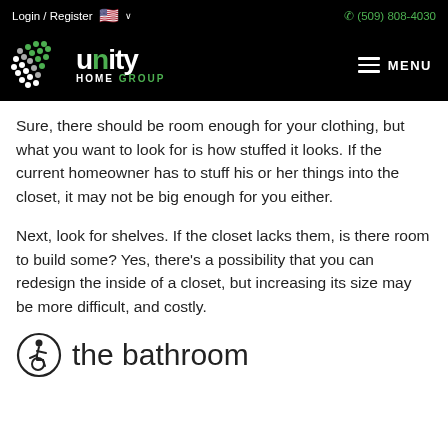Login / Register   🇺🇸 ∨   (509) 808-4030
[Figure (logo): Unity Home Group logo — green and grey dot-pattern shield icon with 'unity HOME GROUP' text in white and green on black background, with hamburger MENU button on right]
Sure, there should be room enough for your clothing, but what you want to look for is how stuffed it looks. If the current homeowner has to stuff his or her things into the closet, it may not be big enough for you either.
Next, look for shelves. If the closet lacks them, is there room to build some? Yes, there's a possibility that you can redesign the inside of a closet, but increasing its size may be more difficult, and costly.
the bathroom